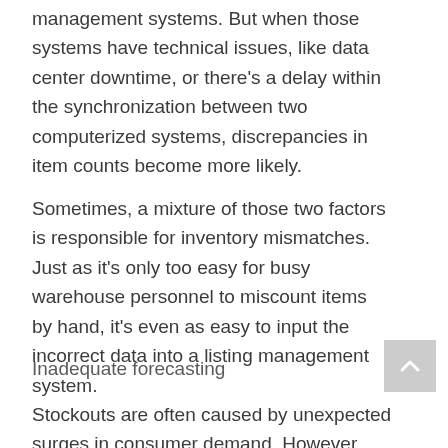management systems. But when those systems have technical issues, like data center downtime, or there's a delay within the synchronization between two computerized systems, discrepancies in item counts become more likely.
Sometimes, a mixture of those two factors is responsible for inventory mismatches. Just as it's only too easy for busy warehouse personnel to miscount items by hand, it's even as easy to input the incorrect data into a listing management system.
Inadequate forecasting
Stockouts are often caused by unexpected surges in consumer demand. However, inadequate forecasting or